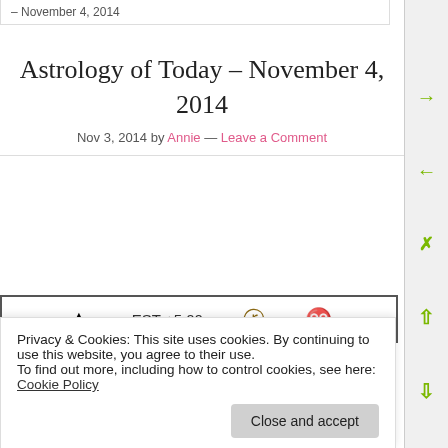– November 4, 2014
Astrology of Today – November 4, 2014
Nov 3, 2014 by Annie — Leave a Comment
[Figure (other): Astrological chart preview showing EST +5:00, moon symbol, and Aries symbol in top row; astrological symbols in bottom row]
Privacy & Cookies: This site uses cookies. By continuing to use this website, you agree to their use.
To find out more, including how to control cookies, see here: Cookie Policy
Close and accept